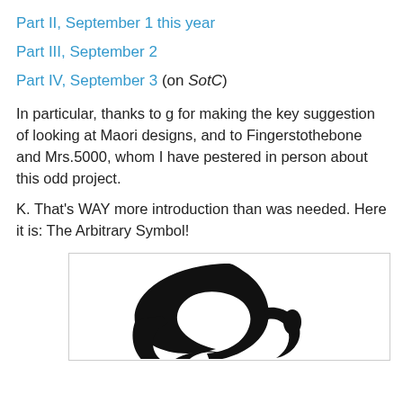Part II, September 1 this year
Part III, September 2
Part IV, September 3 (on SotC)
In particular, thanks to g for making the key suggestion of looking at Maori designs, and to Fingerstothebone and Mrs.5000, whom I have pestered in person about this odd project.
K. That's WAY more introduction than was needed. Here it is: The Arbitrary Symbol!
[Figure (illustration): A black decorative symbol resembling a stylized figure or glyph on a white background, with curving forms and a small oval element, partially cropped at the bottom of the page.]